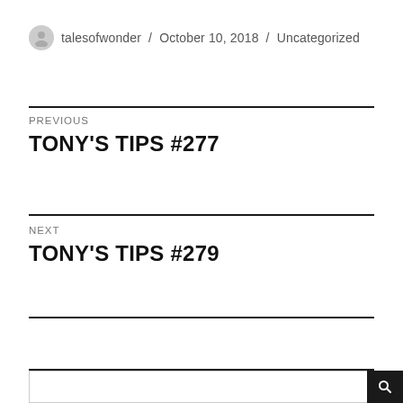talesofwonder / October 10, 2018 / Uncategorized
PREVIOUS
TONY'S TIPS #277
NEXT
TONY'S TIPS #279